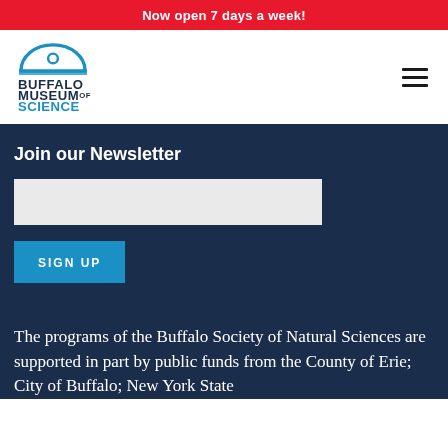Now open 7 days a week!
[Figure (logo): Buffalo Museum of Science logo with dome icon and blue text]
Join our Newsletter
SIGN UP
The programs of the Buffalo Society of Natural Sciences are supported in part by public funds from the County of Erie; City of Buffalo; New York State